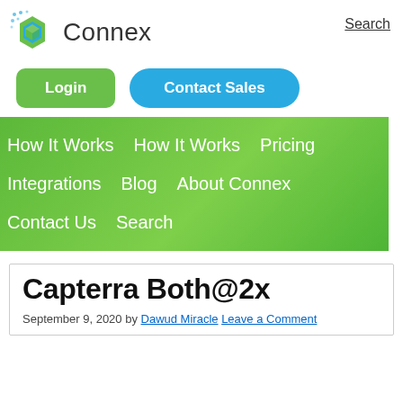[Figure (logo): Connex logo with green hexagon icon and 'Connex' text]
Search
Login
Contact Sales
How It Works   How It Works   Pricing   Integrations   Blog   About Connex   Contact Us   Search
Capterra Both@2x
September 9, 2020 by Dawud Miracle Leave a Comment